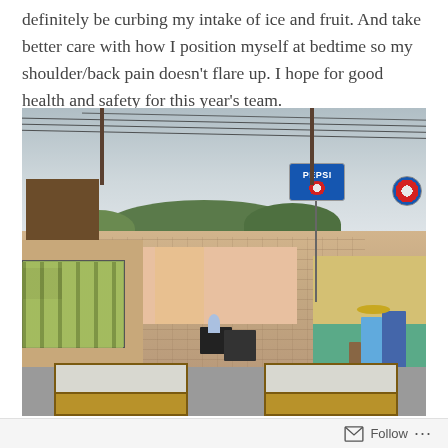definitely be curbing my intake of ice and fruit. And take better care with how I position myself at bedtime so my shoulder/back pain doesn't flare up. I hope for good health and safety for this year's team.
[Figure (photo): Street scene in a small Latin American town. A cobblestone street lined with colorful low-rise buildings leads into the distance toward hills and trees. A Pepsi sign is prominent on the right side of the street. A large truck is parked on the left, motorcycles are in the middle of the street, and a group of people stand near a building on the right. Power lines cross overhead. The bottom portion shows what appears to be folding tables or panels with wooden frames and light-colored tops.]
Follow